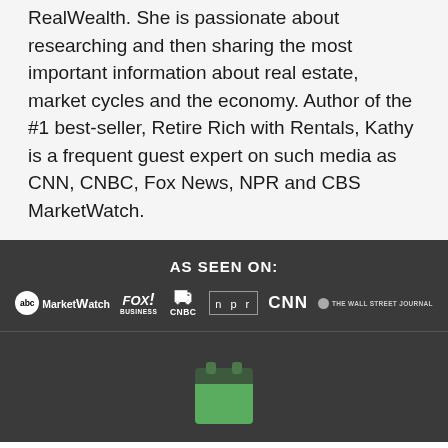RealWealth. She is passionate about researching and then sharing the most important information about real estate, market cycles and the economy. Author of the #1 best-seller, Retire Rich with Rentals, Kathy is a frequent guest expert on such media as CNN, CNBC, Fox News, NPR and CBS MarketWatch.
AS SEEN ON:
[Figure (logo): Media logos row: ABC MarketWatch, FOX Business, CNBC, NPR, CNN, The Wall Street Journal]
[Figure (illustration): Green calendar icon on dark background]